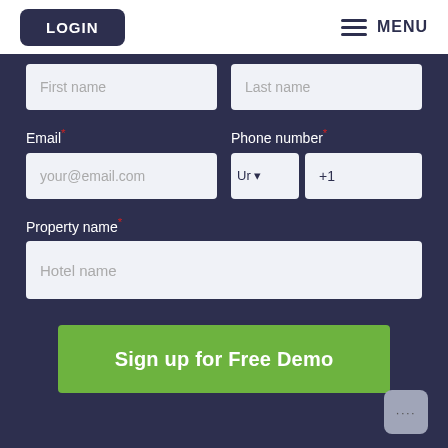LOGIN
MENU
First name
Last name
Email*
your@email.com
Phone number*
+1
Property name*
Hotel name
Sign up for Free Demo